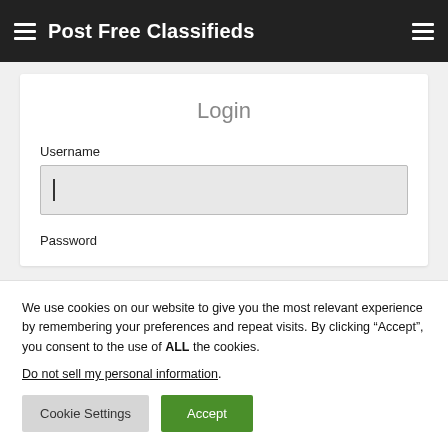Post Free Classifieds
Login
Username
Password
We use cookies on our website to give you the most relevant experience by remembering your preferences and repeat visits. By clicking “Accept”, you consent to the use of ALL the cookies.
Do not sell my personal information.
Cookie Settings
Accept